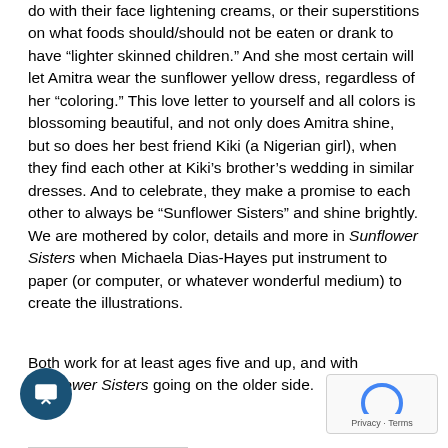do with their face lightening creams, or their superstitions on what foods should/should not be eaten or drank to have “lighter skinned children.” And she most certain will let Amitra wear the sunflower yellow dress, regardless of her “coloring.” This love letter to yourself and all colors is blossoming beautiful, and not only does Amitra shine, but so does her best friend Kiki (a Nigerian girl), when they find each other at Kiki’s brother’s wedding in similar dresses. And to celebrate, they make a promise to each other to always be “Sunflower Sisters” and shine brightly. We are mothered by color, details and more in Sunflower Sisters when Michaela Dias-Hayes put instrument to paper (or computer, or whatever wonderful medium) to create the illustrations.
Both work for at least ages five and up, and with Sunflower Sisters going on the older side.